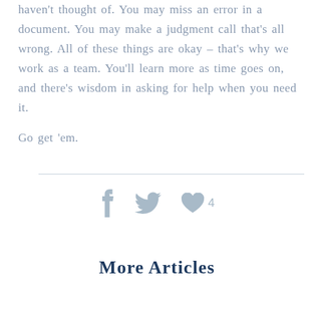haven't thought of. You may miss an error in a document. You may make a judgment call that's all wrong. All of these things are okay – that's why we work as a team. You'll learn more as time goes on, and there's wisdom in asking for help when you need it.
Go get 'em.
[Figure (infographic): Social sharing icons: Facebook (f), Twitter (bird), Heart with count 4]
More Articles